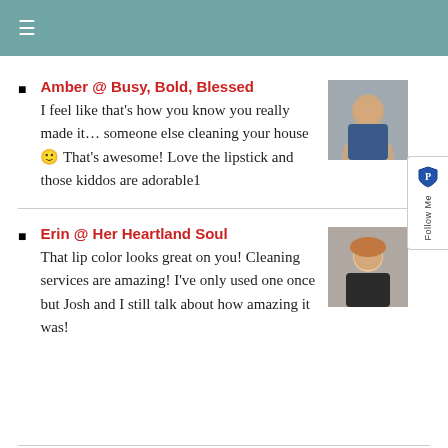≡
Amber @ Busy, Bold, Blessed
I feel like that's how you know you really made it… someone else cleaning your house 🙂 That's awesome! Love the lipstick and those kiddos are adorable1
Erin @ Her Heartland Soul
That lip color looks great on you! Cleaning services are amazing! I've only used one once but Josh and I still talk about how amazing it was!